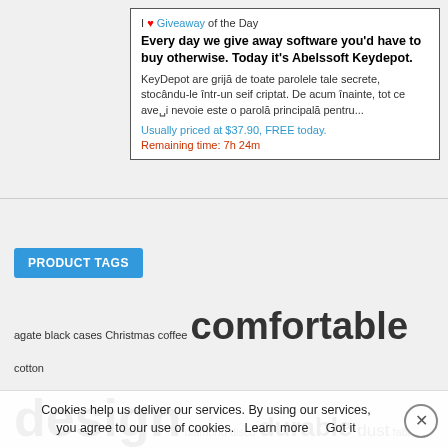[Figure (screenshot): Advertisement box for 'I Love Giveaway of the Day' promoting Abelssoft Keydepot software, free today, normally $37.90. Remaining time: 7h 24m.]
I ♥ Giveaway of the Day
Every day we give away software you'd have to buy otherwise. Today it's Abelssoft Keydepot.
KeyDepot are grijă de toate parolele tale secrete, stocându-le într-un seif criptat. De acum înainte, tot ce aveți nevoie este o parolă principală pentru...
Usually priced at $37.90, FREE today.
Remaining time: 7h 24m
PRODUCT TAGS
agate black cases Christmas coffee comfortable cotton design diamond disco durable dust fabric fir floral gift glitter grunge head lightweight living room love luxurious oil premium
Cookies help us deliver our services. By using our services, you agree to our use of cookies.  Learn more    Got it